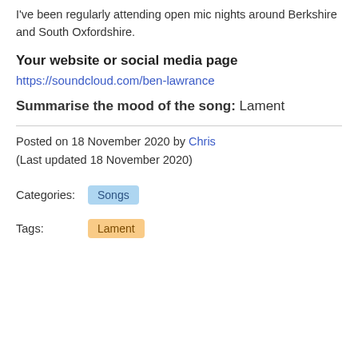I've been regularly attending open mic nights around Berkshire and South Oxfordshire.
Your website or social media page
https://soundcloud.com/ben-lawrance
Summarise the mood of the song: Lament
Posted on 18 November 2020 by Chris
(Last updated 18 November 2020)
Categories: Songs
Tags: Lament